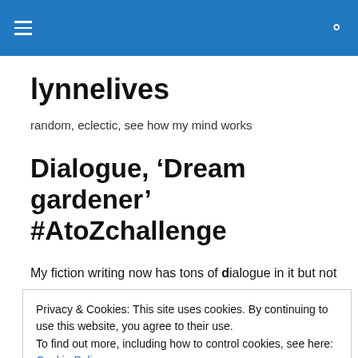lynnelives — navigation header with hamburger menu and search icon
lynnelives
random, eclectic, see how my mind works
Dialogue, ‘Dream gardener’ #AtoZchallenge
My fiction writing now has tons of dialogue in it but not
Privacy & Cookies: This site uses cookies. By continuing to use this website, you agree to their use.
To find out more, including how to control cookies, see here: Cookie Policy
Close and accept
What do you want to become? Who’s dreams are we